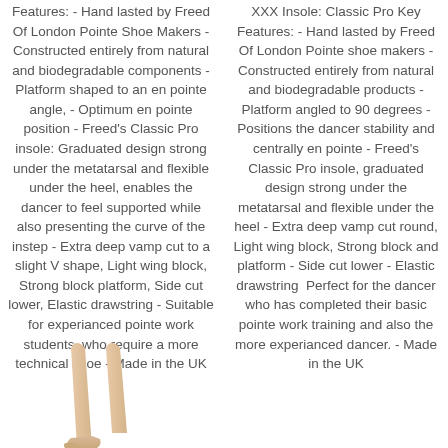Features: - Hand lasted by Freed Of London Pointe Shoe Makers - Constructed entirely from natural and biodegradable components - Platform shaped to an en pointe angle, - Optimum en pointe position - Freed's Classic Pro insole: Graduated design strong under the metatarsal and flexible under the heel, enables the dancer to feel supported while also presenting the curve of the instep - Extra deep vamp cut to a slight V shape, Light wing block, Strong block platform, Side cut lower, Elastic drawstring - Suitable for experianced pointe work students, who require a more technical shoe - Made in the UK
XXX Insole: Classic Pro Key Features: - Hand lasted by Freed Of London Pointe shoe makers - Constructed entirely from natural and biodegradable products - Platform angled to 90 degrees - Positions the dancer stability and centrally en pointe - Freed's Classic Pro insole, graduated design strong under the metatarsal and flexible under the heel - Extra deep vamp cut round, Light wing block, Strong block and platform - Side cut lower - Elastic drawstring  Perfect for the dancer who has completed their basic pointe work training and also the more experianced dancer. - Made in the UK
[Figure (photo): Partial image of ballet pointe shoes on a dancer's feet, showing the lower legs and feet in a pointe position, with a beige/nude colored shoe visible at the bottom left of the page.]